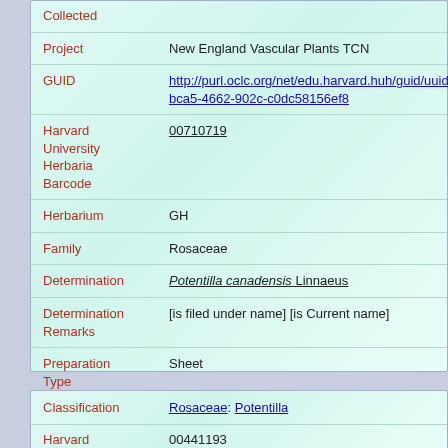| Field | Value |
| --- | --- |
| Collected |  |
| Project | New England Vascular Plants TCN |
| GUID | http://purl.oclc.org/net/edu.harvard.huh/guid/uuid/e28bca5-4662-902c-c0dc58156ef8 |
| Harvard University Herbaria Barcode | 00710719 |
| Herbarium | GH |
| Family | Rosaceae |
| Determination | Potentilla canadensis Linnaeus |
| Determination Remarks | [is filed under name] [is Current name] |
| Preparation Type | Sheet |
| Preparation Method | Pressed |
| Field | Value |
| --- | --- |
| Classification | Rosaceae: Potentilla |
| Harvard University | 00441193 |